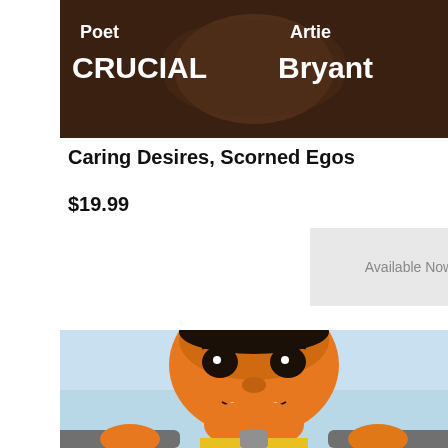[Figure (illustration): Book cover showing illustrated child on a bicycle with text 'Poet CRUCIAL' and 'Artie Bryant' on a dark brown background]
Caring Desires, Scorned Egos
$19.99
Available Now
[Figure (illustration): Illustration of a smiling child with orange skin tone riding a bicycle, close-up showing face and handlebars, light blue background]